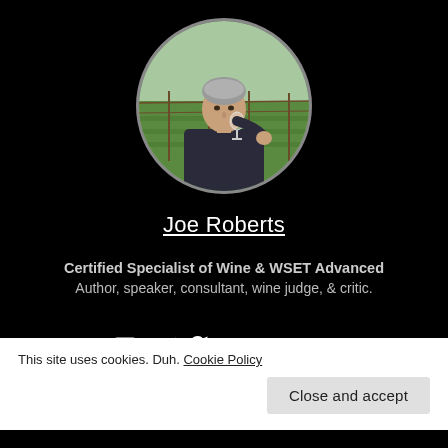[Figure (photo): Circular profile photo of Joe Roberts, a man tasting wine in a vineyard setting]
Joe Roberts
Certified Specialist of Wine & WSET Advanced
Author, speaker, consultant, wine judge, & critic.
[Figure (illustration): Social media icons: Facebook, Instagram, Twitter, LinkedIn, RSS feed, and one more icon]
This site uses cookies. Duh. Cookie Policy
Close and accept